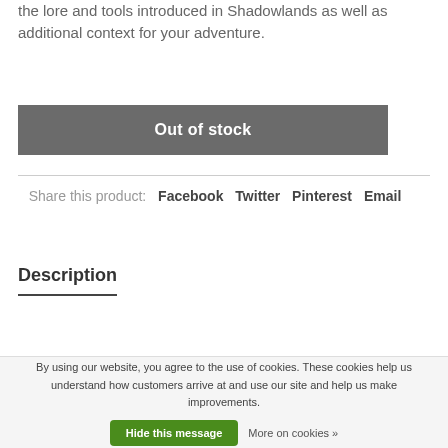the lore and tools introduced in Shadowlands as well as additional context for your adventure.
Out of stock
Share this product: Facebook Twitter Pinterest Email
Description
By using our website, you agree to the use of cookies. These cookies help us understand how customers arrive at and use our site and help us make improvements.
Hide this message
More on cookies »